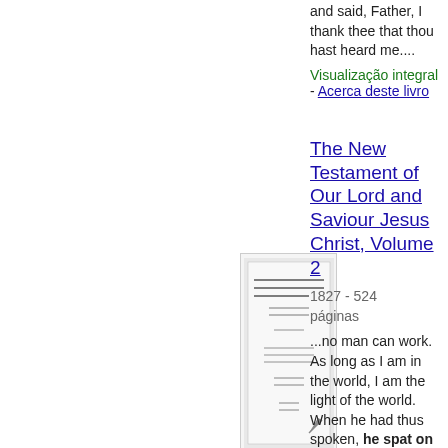and said, Father, I thank thee that thou hast heard me....
Visualização integral - Acerca deste livro
[Figure (photo): Thumbnail image of book cover for The New Testament of Our Lord and Saviour Jesus Christ, Volume 2]
The New Testament of Our Lord and Saviour Jesus Christ, Volume 2
1827 - 524 páginas
...no man can work. As long as I am in the world, I am the light of the world. When he had thus spoken, he spat on the ground, and made clay of the spittle,...anointed the eyes of the